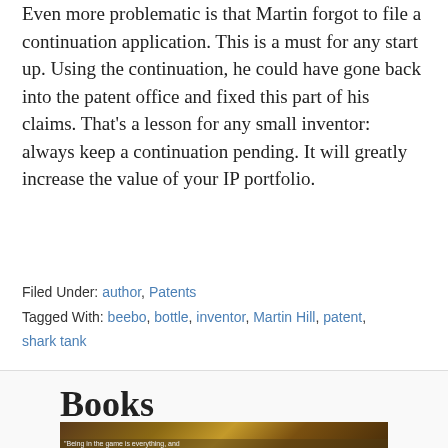Even more problematic is that Martin forgot to file a continuation application.  This is a must for any start up.  Using the continuation, he could have gone back into the patent office and fixed this part of his claims.  That's a lesson for any small inventor: always keep a continuation pending.  It will greatly increase the value of your IP portfolio.
Filed Under: author, Patents
Tagged With: beebo, bottle, inventor, Martin Hill, patent, shark tank
Books
[Figure (photo): Partial book cover image visible at bottom of page, with text snippet 'Being in the game is everything, and']